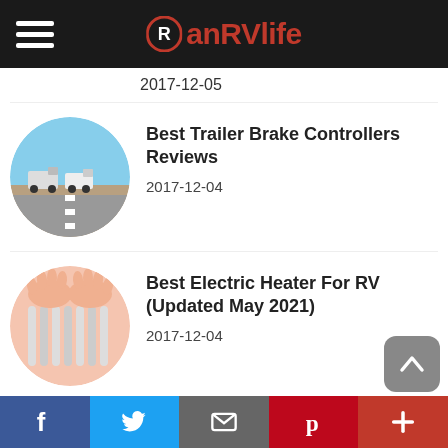anRVlife
2017-12-05
Best Trailer Brake Controllers Reviews
2017-12-04
Best Electric Heater For RV (Updated May 2021)
2017-12-04
Top 5 Best Travel Trailer Tires Reviews (Updated May 2021)
2017-12-04